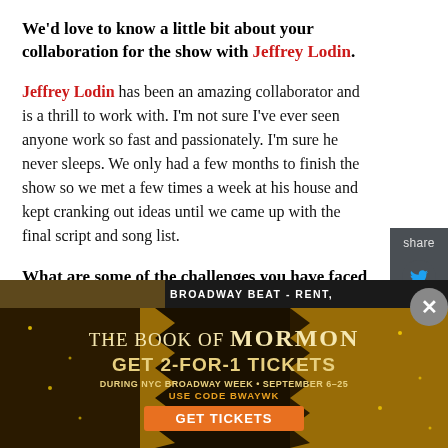We'd love to know a little bit about your collaboration for the show with Jeffrey Lodin.
Jeffrey Lodin has been an amazing collaborator and is a thrill to work with. I'm not sure I've ever seen anyone work so fast and passionately. I'm sure he never sleeps. We only had a few months to finish the show so we met a few times a week at his house and kept cranking out ideas until we came up with the final script and song list.
What are some of the challenges you have faced staging this musical production?
[Figure (screenshot): Advertisement for 'The Book of Mormon' offering GET 2-FOR-1 TICKETS during NYC Broadway Week, September 6-25, use code BWAYWK, with a GET TICKETS button. Gold glitter background with close button.]